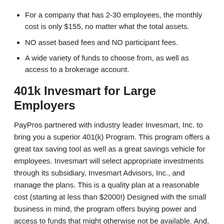For a company that has 2-30 employees, the monthly cost is only $155, no matter what the total assets.
NO asset based fees and NO participant fees.
A wide variety of funds to choose from, as well as access to a brokerage account.
401k Invesmart for Large Employers
PayPros partnered with industry leader Invesmart, Inc. to bring you a superior 401(k) Program. This program offers a great tax saving tool as well as a great savings vehicle for employees. Invesmart will select appropriate investments through its subsidiary, Invesmart Advisors, Inc., and manage the plans. This is a quality plan at a reasonable cost (starting at less than $2000!) Designed with the small business in mind, the program offers buying power and access to funds that might otherwise not be available. And, by providing account management services for participants, it provides a service unique to the